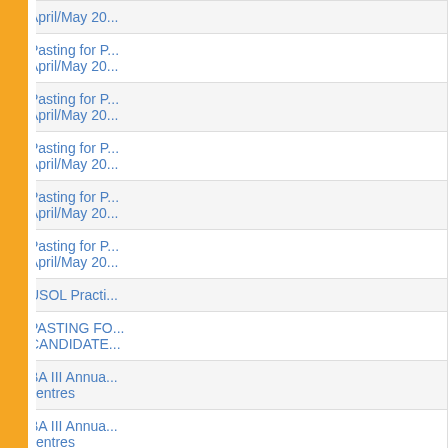| # | Date | Title |
| --- | --- | --- |
| 574. | 28/04/2017 | Pasting for P... April/May 20... |
| 575. | 28/04/2017 | Pasting for P... April/May 20... |
| 576. | 28/04/2017 | Pasting for P... April/May 20... |
| 577. | 28/04/2017 | Pasting for P... April/May 20... |
| 578. | 28/04/2017 | Pasting for P... April/May 20... |
| 579. | 26/04/2017 | USOL Practi... |
| 580. | 26/04/2017 | PASTING FO... CANDIDATE... |
| 581. | 26/04/2017 | BA III Annua... centres |
| 582. | 26/04/2017 | BA III Annua... centres |
| 583. | 26/04/2017 | BA III Annua... centres |
| 584. | 26/04/2017 | BA III Annua... |